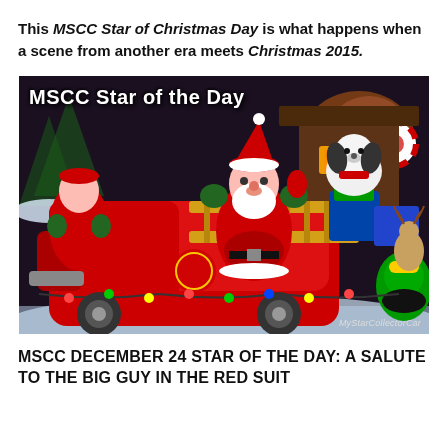This MSCC Star of Christmas Day is what happens when a scene from another era meets Christmas 2015.
[Figure (photo): Inflatable Christmas decorations including Santa Claus riding a red fire truck, with Snoopy and reindeer figures, labeled 'MSCC Star of the Day' with MyStarCollectorCar watermark]
MSCC DECEMBER 24 STAR OF THE DAY: A SALUTE TO THE BIG GUY IN THE RED SUIT